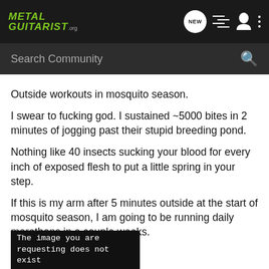METAL GUITARIST.com
Search Community
Outside workouts in mosquito season.
I swear to fucking god. I sustained ~5000 bites in 2 minutes of jogging past their stupid breeding pond.
Nothing like 40 insects sucking your blood for every inch of exposed flesh to put a little spring in your step.
If this is my arm after 5 minutes outside at the start of mosquito season, I am going to be running daily marathons in a couple weeks.
[Figure (screenshot): Broken image placeholder with text: The image you are requesting does not exist]